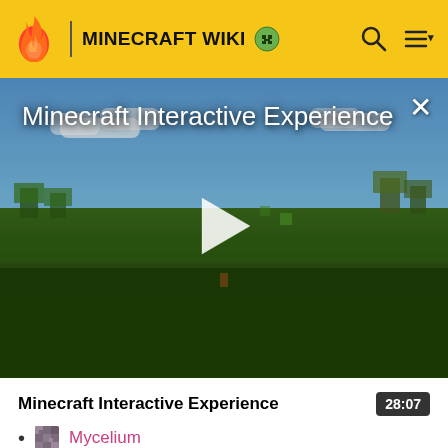MINECRAFT WIKI
[Figure (screenshot): Minecraft game screenshot showing a green grassy landscape with trees and blue sky, used as video thumbnail with play button overlay and title 'Minecraft Interactive Experience']
Minecraft Interactive Experience
28:07
Mycelium
Rooted Dirt
Moss Block
Farmland